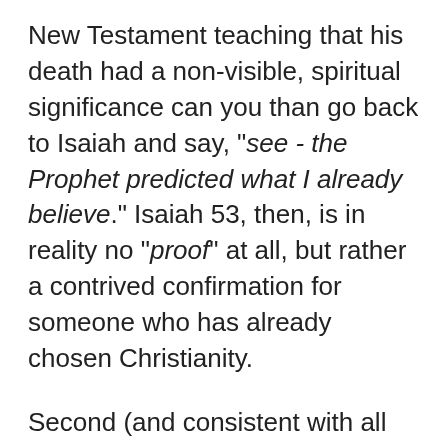New Testament teaching that his death had a non-visible, spiritual significance can you than go back to Isaiah and say, "see - the Prophet predicted what I already believe." Isaiah 53, then, is in reality no "proof" at all, but rather a contrived confirmation for someone who has already chosen Christianity.
Second (and consistent with all Jewish teaching at the time), Jesus' own disciples didn't view Isaiah 53 as a messianic prophecy. For example, after Peter identifies Jesus as the Messiah (Matt. 16:16), he is informed that Jesus will be killed (Matt. 16:21). His response: "God forbid it, Lord! This